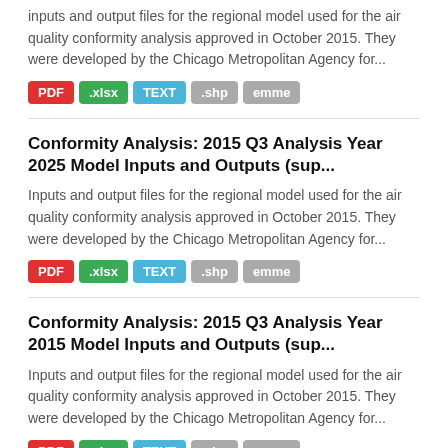inputs and output files for the regional model used for the air quality conformity analysis approved in October 2015. They were developed by the Chicago Metropolitan Agency for...
PDF .xlsx TEXT .shp emme
Conformity Analysis: 2015 Q3 Analysis Year 2025 Model Inputs and Outputs (sup...
Inputs and output files for the regional model used for the air quality conformity analysis approved in October 2015. They were developed by the Chicago Metropolitan Agency for...
PDF .xlsx TEXT .shp emme
Conformity Analysis: 2015 Q3 Analysis Year 2015 Model Inputs and Outputs (sup...
Inputs and output files for the regional model used for the air quality conformity analysis approved in October 2015. They were developed by the Chicago Metropolitan Agency for...
PDF .xlsx TEXT .shp emme